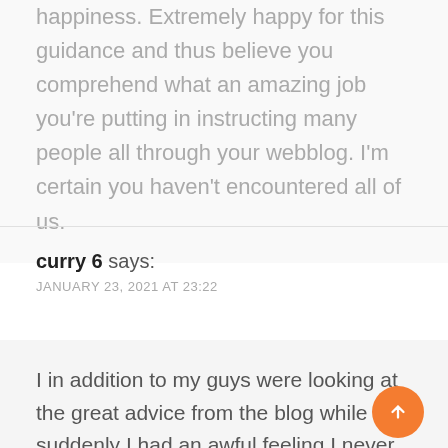happiness. Extremely happy for this guidance and thus believe you comprehend what an amazing job you're putting in instructing many people all through your webblog. I'm certain you haven't encountered all of us.
curry 6 says:
JANUARY 23, 2021 AT 23:22
I in addition to my guys were looking at the great advice from the blog while suddenly I had an awful feeling I never thanked the site owner for those tips. All of the women ended up absolutely